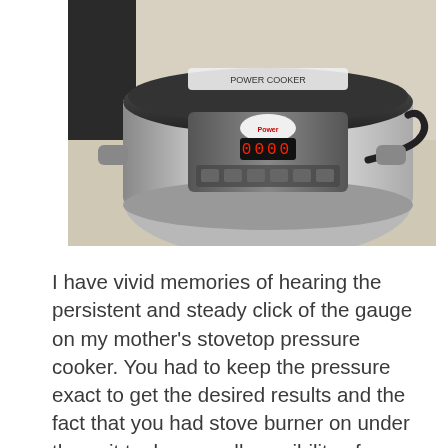[Figure (photo): Photo of a modern electric pressure cooker (Instant Pot style) on a countertop. The appliance is silver/stainless with a black lid, a digital display showing 0000 in red LEDs, and a control panel with various buttons. A power cord is visible on the right side.]
I have vivid memories of hearing the persistent and steady click of the gauge on my mother's stovetop pressure cooker. You had to keep the pressure exact to get the desired results and the fact that you had stove burner on under the unit took away all possibility of actually keeping the kitchen cooler in summer. However, modern pressure cookers have made a huge